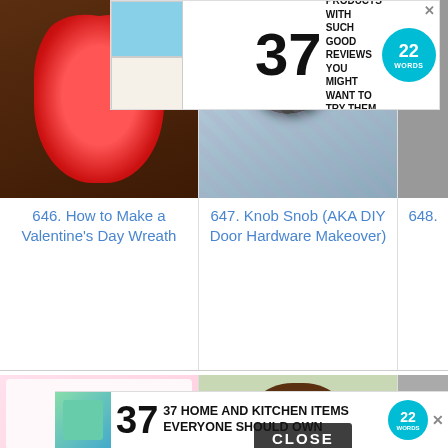[Figure (photo): Advertisement banner: 37 Beauty Products with such good reviews you might want to try them yourself, with 22 Words badge]
[Figure (photo): Red floral Valentine's Day wreath on a dark wooden door]
646. How to Make a Valentine's Day Wreath
[Figure (photo): Close-up of a decorative door knob with patterned fabric background]
647. Knob Snob (AKA DIY Door Hardware Makeover)
648.
[Figure (photo): Collage of 12 of the best free Valentine printables]
649. 12 of the Best Free Valentine Printables
[Figure (photo): Woman smiling at camera, indoor setting]
650. Chronically Content: Just A Little C...
651.
[Figure (screenshot): CLOSE button overlay on bottom half of page]
[Figure (photo): Advertisement banner: 37 Home and Kitchen Items Everyone Should Own, with 22 Words badge]